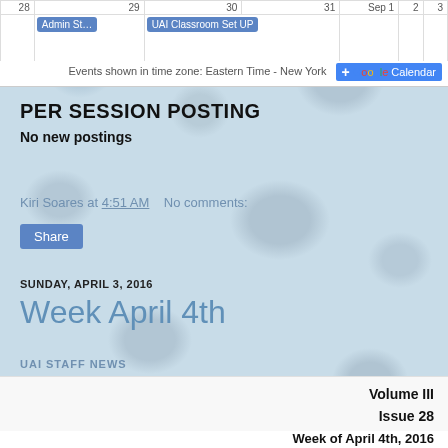[Figure (screenshot): Google Calendar strip showing dates 28, 29, 30, 31, Sep 1, 2, 3 with events 'Admin St...' and 'UAI Classroom Set UP' on the 29-30 row, and an 'Events shown in time zone: Eastern Time - New York + Google Calendar' footer bar.]
PER SESSION POSTING
No new postings
Kiri Soares at 4:51 AM   No comments:
Share
SUNDAY, APRIL 3, 2016
Week April 4th
UAI STAFF NEWS
| Volume III |
| Issue 28 |
| Week of April 4th, 2016 |